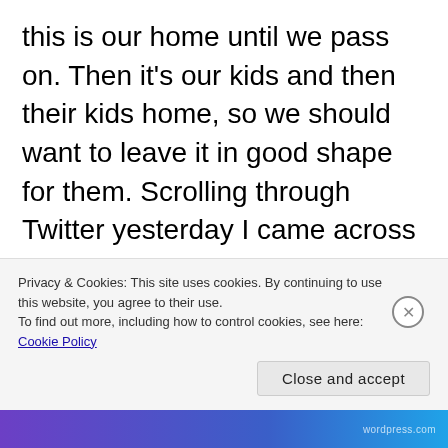this is our home until we pass on. Then it's our kids and then their kids home, so we should want to leave it in good shape for them. Scrolling through Twitter yesterday I came across an initiative that H&M (yes the huge fashion retailer) is implementing. Basically, it's recycling or reusing old, unused clothes for better purposes and in return it helps take better care of the world. If you don't know, the fashion industry has a major
Privacy & Cookies: This site uses cookies. By continuing to use this website, you agree to their use.
To find out more, including how to control cookies, see here: Cookie Policy
Close and accept